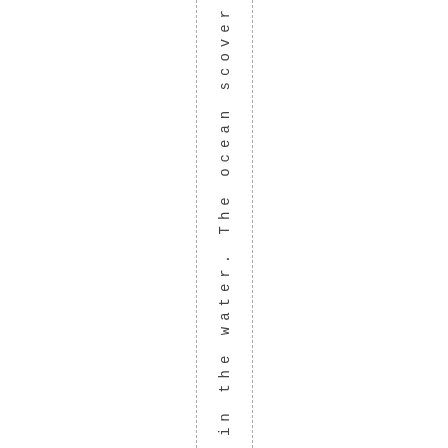in the water. The ocean scover